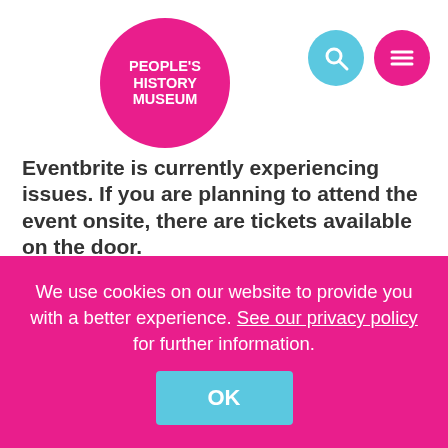[Figure (logo): People's History Museum pink circle logo with white bold text]
Eventbrite is currently experiencing issues. If you are planning to attend the event onsite, there are tickets available on the door.
Join us at the museum for this Radical Late evening as we launch the Australian-British digital history project Conviction Politics with screenings and a panel discussion exploring the story of radicals and rebels transported as political convicts to Australia.
We use cookies on our website to provide you with a better experience. See our privacy policy for further information.